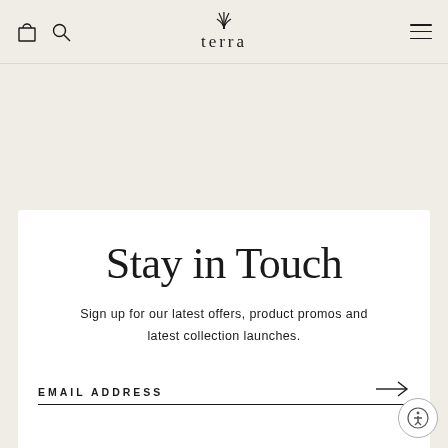terra — navigation header with cart, search, logo, and hamburger menu
Stay in Touch
Sign up for our latest offers, product promos and latest collection launches.
EMAIL ADDRESS